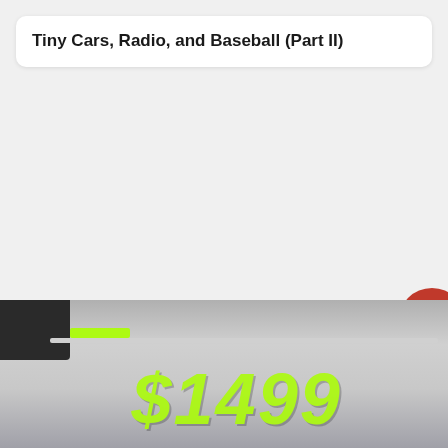Tiny Cars, Radio, and Baseball (Part II)
[Figure (photo): A photograph showing a car windshield/window area with a green neon price tag reading $1499, partially obscured. The image appears to be of a vehicle for sale at a dealership.]